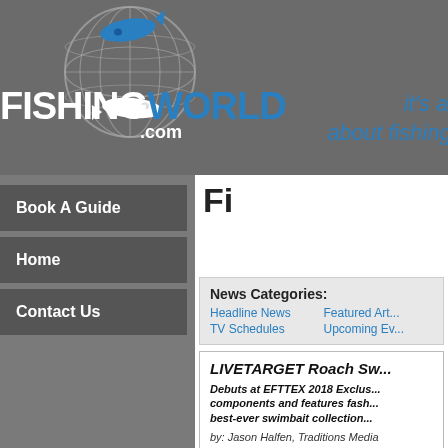[Figure (logo): FishingWorld.com website header with globe logo featuring fish, bold white and blue text reading FISHINGWORLD.COM, and blue italic tagline reading it's all about fishing!]
Book A Guide
Home
Contact Us
Fi
News Categories:
Headline News   Featured Art...
TV Schedules    Upcoming Ev...
LIVETARGET Roach Sw...
Debuts at EFTTEX 2018 Exclus... components and features fash... best-ever swimbait collection...
by: Jason Halfen, Traditions Media
(Jun 25, 2018 - Niagara-on-the-Lake, ON) Roa... are widely distributed throughout Europe, and t...